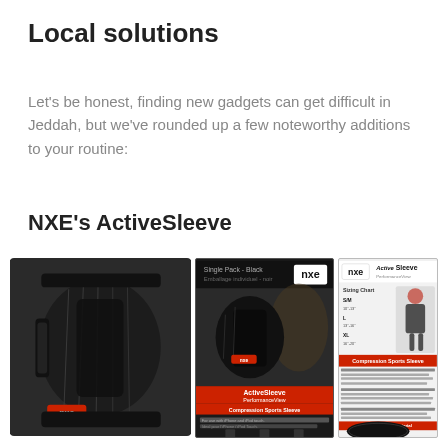Local solutions
Let’s be honest, finding new gadgets can get difficult in Jeddah, but we’ve rounded up a few noteworthy additions to your routine:
NXE’s ActiveSleeve
[Figure (photo): Three views of the NXE ActiveSleeve Compression Sports Sleeve: the sleeve itself worn on a leg (left), its retail box packaging in the center, and the back of the packaging showing sizing chart and product features (right).]